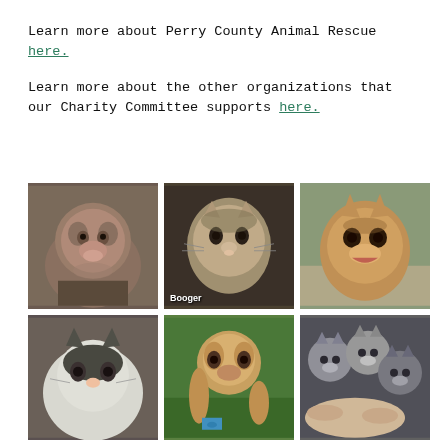Learn more about Perry County Animal Rescue here.
Learn more about the other organizations that our Charity Committee supports here.
[Figure (photo): Grid of 6 animal rescue photos: pit bull dog, tabby cat named Booger, German shepherd dog, black and white cat, beagle puppy with blue tag, and three gray kittens being held.]